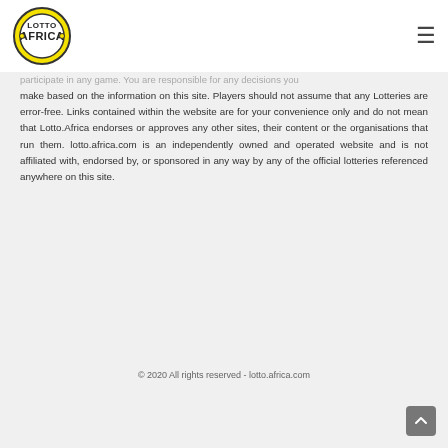[Figure (logo): Lotto Africa logo — circular badge with yellow and black text on white background]
participate in any game. You are responsible for any decisions you make based on the information on this site. Players should not assume that any Lotteries are error-free. Links contained within the website are for your convenience only and do not mean that Lotto.Africa endorses or approves any other sites, their content or the organisations that run them. lotto.africa.com is an independently owned and operated website and is not affiliated with, endorsed by, or sponsored in any way by any of the official lotteries referenced anywhere on this site.
© 2020 All rights reserved - lotto.africa.com